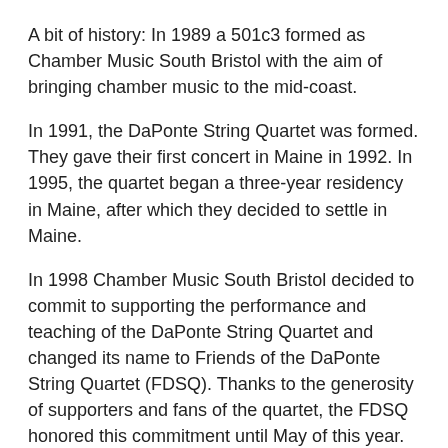A bit of history: In 1989 a 501c3 formed as Chamber Music South Bristol with the aim of bringing chamber music to the mid-coast.
In 1991, the DaPonte String Quartet was formed. They gave their first concert in Maine in 1992. In 1995, the quartet began a three-year residency in Maine, after which they decided to settle in Maine.
In 1998 Chamber Music South Bristol decided to commit to supporting the performance and teaching of the DaPonte String Quartet and changed its name to Friends of the DaPonte String Quartet (FDSQ). Thanks to the generosity of supporters and fans of the quartet, the FDSQ honored this commitment until May of this year. In February, newly appointed FDSQ Executive Director Erica Ball emailed quartet donors about plans for the quartet's statewide performances and promised exciting news about the DaPonte Quartet's 30th anniversary celebration that will be announced in the spring.